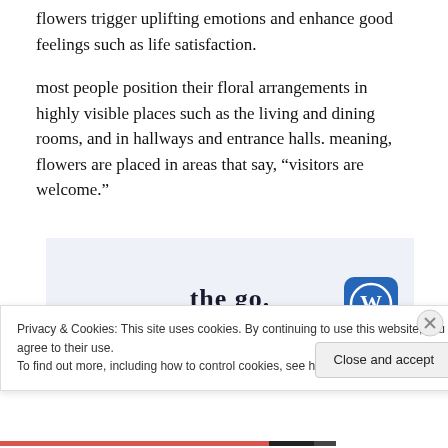flowers trigger uplifting emotions and enhance good feelings such as life satisfaction.
most people position their floral arrangements in highly visible places such as the living and dining rooms, and in hallways and entrance halls. meaning, flowers are placed in areas that say, “visitors are welcome.”
[Figure (screenshot): Advertisement banner with text 'the go.' and 'GET THE APP' in blue, with a WordPress app icon on the right, on a light blue-grey background.]
Privacy & Cookies: This site uses cookies. By continuing to use this website, you agree to their use.
To find out more, including how to control cookies, see here: Cookie Policy
Close and accept